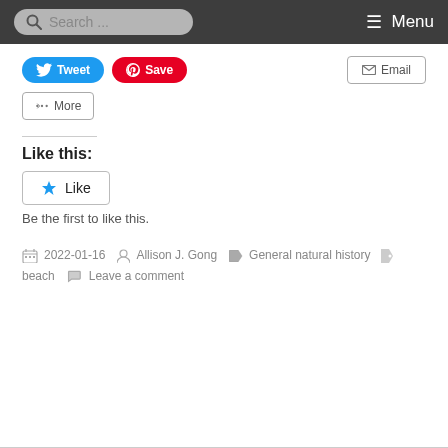Search ... Menu
[Figure (screenshot): Social sharing buttons: Tweet (blue), Save (red Pinterest), Email (outlined), More (outlined with share icon)]
Like this:
[Figure (screenshot): WordPress Like button with star icon]
Be the first to like this.
2022-01-16  Allison J. Gong  General natural history  beach  Leave a comment